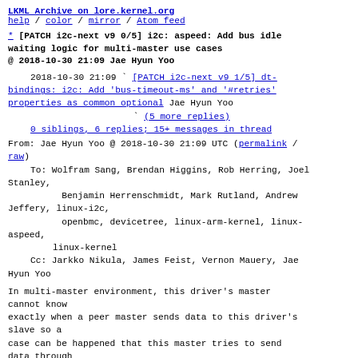LKML Archive on lore.kernel.org
help / color / mirror / Atom feed
[PATCH i2c-next v9 0/5] i2c: aspeed: Add bus idle waiting logic for multi-master use cases
@ 2018-10-30 21:09 Jae Hyun Yoo
2018-10-30 21:09 ` [PATCH i2c-next v9 1/5] dt-bindings: i2c: Add 'bus-timeout-ms' and '#retries' properties as common optional Jae Hyun Yoo
` (5 more replies)
0 siblings, 6 replies; 15+ messages in thread
From: Jae Hyun Yoo @ 2018-10-30 21:09 UTC (permalink / raw)
To: Wolfram Sang, Brendan Higgins, Rob Herring, Joel Stanley,
        Benjamin Herrenschmidt, Mark Rutland, Andrew Jeffery, linux-i2c,
        openbmc, devicetree, linux-arm-kernel, linux-aspeed,
        linux-kernel
Cc: Jarkko Nikula, James Feist, Vernon Mauery, Jae Hyun Yoo
In multi-master environment, this driver's master cannot know
exactly when a peer master sends data to this driver's slave so a
case can be happened that this master tries to send data through
the master_xfer function but slave data from peer